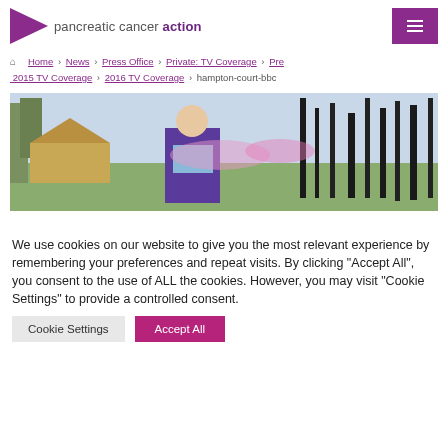[Figure (logo): Pancreatic Cancer Action logo with purple arrow/triangle and text]
Home > News > Press Office > Private: TV Coverage > Pre 2015 TV Coverage > 2016 TV Coverage > hampton-court-bbc
[Figure (photo): A man in a purple blazer standing outdoors at what appears to be a garden show or outdoor event, with trees and decorative structures in the background]
We use cookies on our website to give you the most relevant experience by remembering your preferences and repeat visits. By clicking "Accept All", you consent to the use of ALL the cookies. However, you may visit "Cookie Settings" to provide a controlled consent.
Cookie Settings
Accept All